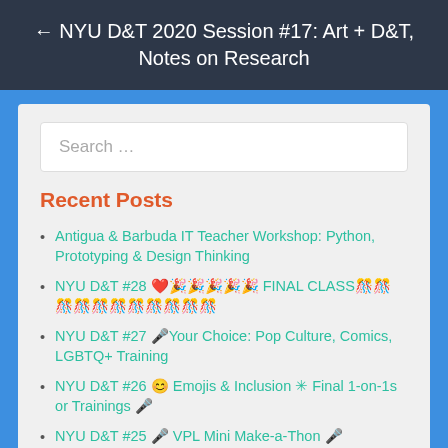← NYU D&T 2020 Session #17: Art + D&T, Notes on Research
Recent Posts
Antigua & Barbuda IT Teacher Workshop: Python, Prototyping & Design Thinking
NYU D&T #28 ❤️🎉🎉🎉🎉🎉 FINAL CLASS🎊🎊🎊🎊🎊🎊🎊🎊🎊🎊🎊
NYU D&T #27 🎤Your Choice: Pop Culture, Comics, LGBTQ+ Training
NYU D&T #26 😊 Emojis & Inclusion ✳ Final 1-on-1s or Trainings 🎤
NYU D&T #25 🎤 VPL Mini Make-a-Thon 🎤